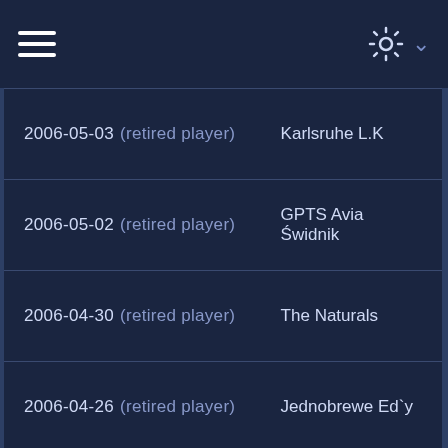Menu | Settings
| Date / Status | Club |
| --- | --- |
| 2006-05-03  (retired player) | Karlsruhe L.K |
| 2006-05-02  (retired player) | GPTS Avia Świdnik |
| 2006-04-30  (retired player) | The Naturals |
| 2006-04-26  (retired player) | Jednobrewe Ed`y |
| 2006-04-23  (retired player) | A.D. CEUTA |
| 2006-04-23  (retired player) | Las Majadas FC |
| 2006-04-20  (retired player) | The Naturals |